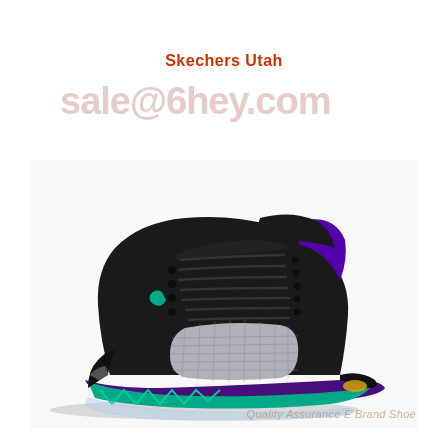Skechers Utah
sale@6hey.com
[Figure (photo): Air Jordan 5 Retro sneaker in black suede with silver mesh panel on the side, purple outsole, teal/emerald midsole shark tooth detail, purple ankle collar trim, and a clear/translucent icy outsole. The shoe is shown from the lateral side profile on a white background.]
Quality Assurance E Brand Shoe